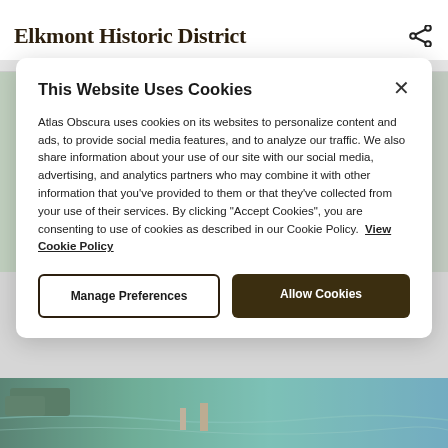Elkmont Historic District
[Figure (map): Partial map view of Elkmont area shown in background behind cookie modal, light green terrain map with blue river/path]
This Website Uses Cookies
Atlas Obscura uses cookies on its websites to personalize content and ads, to provide social media features, and to analyze our traffic. We also share information about your use of our site with our social media, advertising, and analytics partners who may combine it with other information that you've provided to them or that they've collected from your use of their services. By clicking "Accept Cookies", you are consenting to use of cookies as described in our Cookie Policy. View Cookie Policy
[Figure (photo): Aerial photo of waterfront with teal/blue water and green trees at bottom of page]